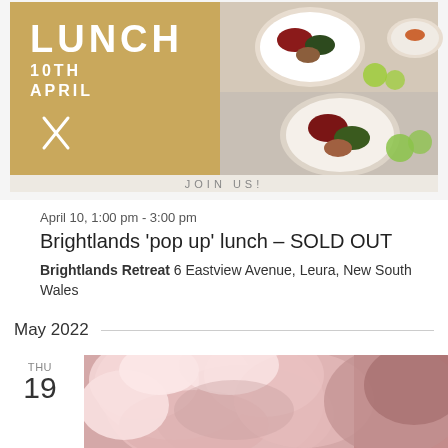[Figure (photo): Promotional banner for a pop-up lunch event on 10th April, with golden/mustard yellow background showing text 'LUNCH 10TH APRIL' with crossed fork and knife icon, and 'JOIN US!' text at bottom, alongside food bowl photos on the right]
April 10, 1:00 pm - 3:00 pm
Brightlands 'pop up' lunch – SOLD OUT
Brightlands Retreat 6 Eastview Avenue, Leura, New South Wales
May 2022
[Figure (photo): Close-up photo of pink peony flowers with soft petals, blush pink tones, alongside a date indicator showing THU 19]